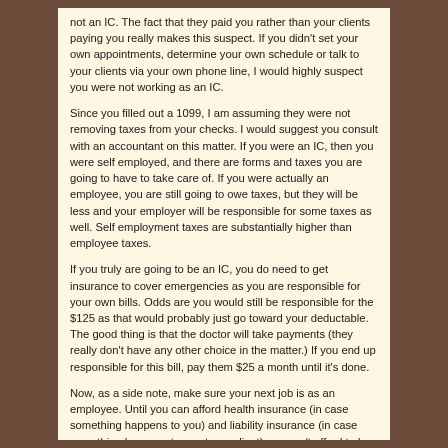not an IC. The fact that they paid you rather than your clients paying you really makes this suspect. If you didn't set your own appointments, determine your own schedule or talk to your clients via your own phone line, I would highly suspect you were not working as an IC.
Since you filled out a 1099, I am assuming they were not removing taxes from your checks. I would suggest you consult with an accountant on this matter. If you were an IC, then you were self employed, and there are forms and taxes you are going to have to take care of. If you were actually an employee, you are still going to owe taxes, but they will be less and your employer will be responsible for some taxes as well. Self employment taxes are substantially higher than employee taxes.
If you truly are going to be an IC, you do need to get insurance to cover emergencies as you are responsible for your own bills. Odds are you would still be responsible for the $125 as that would probably just go toward your deductable. The good thing is that the doctor will take payments (they really don't have any other choice in the matter.) If you end up responsible for this bill, pay them $25 a month until it's done.
Now, as a side note, make sure your next job is as an employee. Until you can afford health insurance (in case something happens to you) and liability insurance (in case something happens to a pet or a client) you can't afford to be an independant contractor.